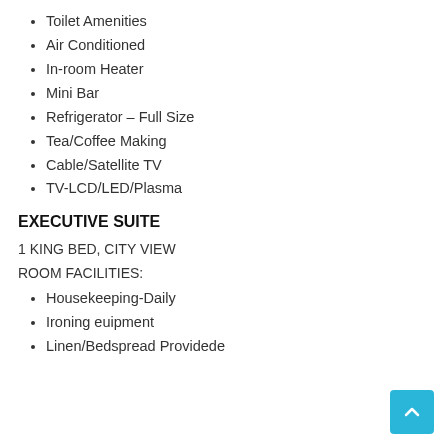Toilet Amenities
Air Conditioned
In-room Heater
Mini Bar
Refrigerator – Full Size
Tea/Coffee Making
Cable/Satellite TV
TV-LCD/LED/Plasma
EXECUTIVE SUITE
1 KING BED, CITY VIEW
ROOM FACILITIES:
Housekeeping-Daily
Ironing euipment
Linen/Bedspread Providede